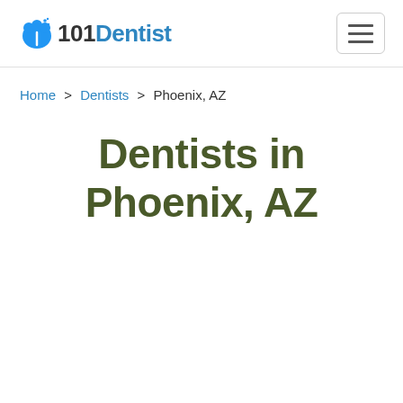101Dentist — navigation header with hamburger menu
Home > Dentists > Phoenix, AZ
Dentists in Phoenix, AZ